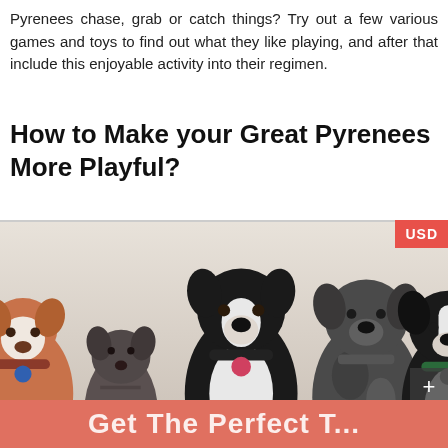Pyrenees chase, grab or catch things? Try out a few various games and toys to find out what they like playing, and after that include this enjoyable activity into their regimen.
How to Make your Great Pyrenees More Playful?
[Figure (photo): A photograph of five dogs of various breeds sitting/lying together in a row against a light background, each wearing a collar with a tag. A red USD badge appears in the top-right corner and a dark plus button below it.]
Get The Perfect T...